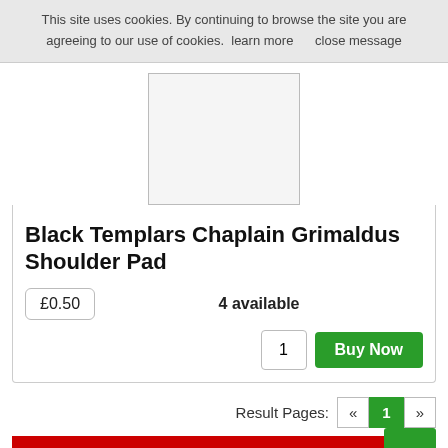This site uses cookies. By continuing to browse the site you are agreeing to our use of cookies.  learn more      close message
[Figure (photo): Product image placeholder box, light gray background with border]
Black Templars Chaplain Grimaldus Shoulder Pad
£0.50
4 available
1   Buy Now
Result Pages:  «  1  »
Categories